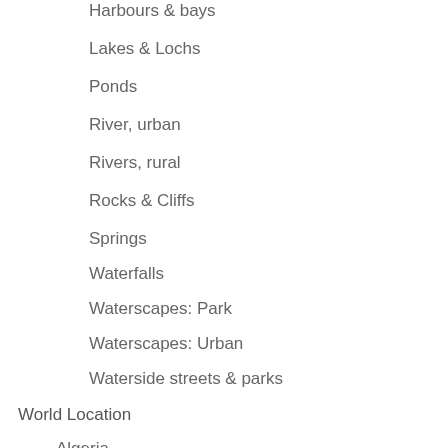Harbours & bays
Lakes & Lochs
Ponds
River, urban
Rivers, rural
Rocks & Cliffs
Springs
Waterfalls
Waterscapes: Park
Waterscapes: Urban
Waterside streets & parks
World Location
Algeria
Argentina
Buenos Aires
Australia
New South Wales